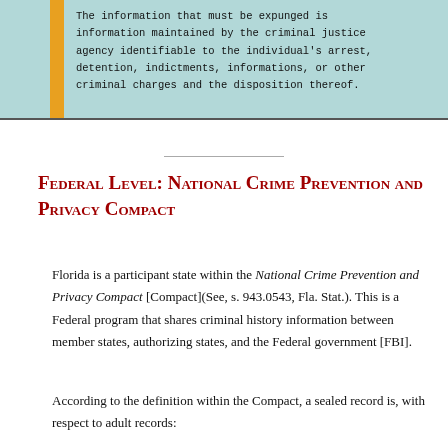The information that must be expunged is information maintained by the criminal justice agency identifiable to the individual's arrest, detention, indictments, informations, or other criminal charges and the disposition thereof.
Federal Level: National Crime Prevention and Privacy Compact
Florida is a participant state within the National Crime Prevention and Privacy Compact [Compact](See, s. 943.0543, Fla. Stat.). This is a Federal program that shares criminal history information between member states, authorizing states, and the Federal government [FBI].
According to the definition within the Compact, a sealed record is, with respect to adult records: